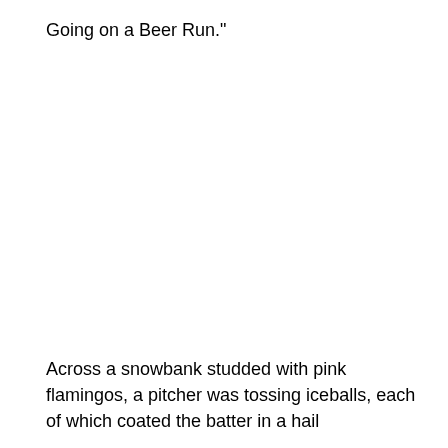Going on a Beer Run."
Across a snowbank studded with pink flamingos, a pitcher was tossing iceballs, each of which coated the batter in a hail